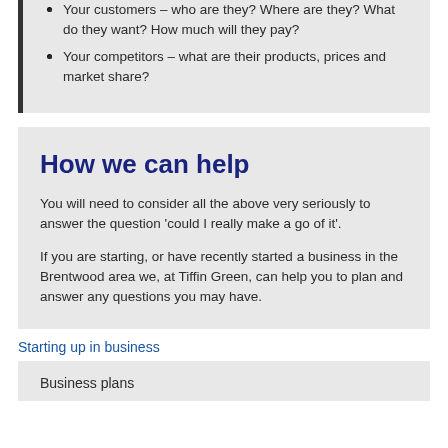Your customers – who are they? Where are they? What do they want? How much will they pay?
Your competitors – what are their products, prices and market share?
How we can help
You will need to consider all the above very seriously to answer the question 'could I really make a go of it'.
If you are starting, or have recently started a business in the Brentwood area we, at Tiffin Green, can help you to plan and answer any questions you may have.
Starting up in business
Business plans